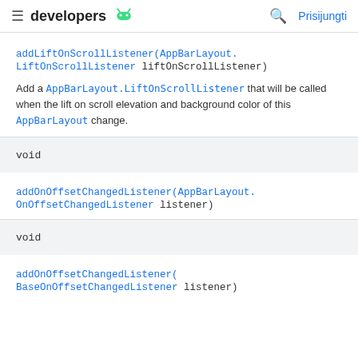developers [android logo] [search] Prisijungti
addLiftOnScrollListener(AppBarLayout.LiftOnScrollListener liftOnScrollListener)
Add a AppBarLayout.LiftOnScrollListener that will be called when the lift on scroll elevation and background color of this AppBarLayout change.
void
addOnOffsetChangedListener(AppBarLayout.OnOffsetChangedListener listener)
void
addOnOffsetChangedListener(BaseOnOffsetChangedListener listener)